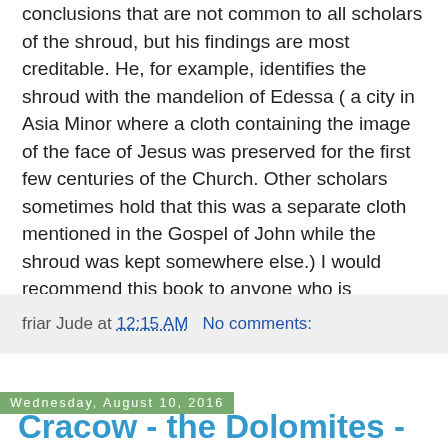conclusions that are not common to all scholars of the shroud, but his findings are most creditable. He, for example, identifies the shroud with the mandelion of Edessa ( a city in Asia Minor where a cloth containing the image of the face of Jesus was preserved for the first few centuries of the Church. Other scholars sometimes hold that this was a separate cloth mentioned in the Gospel of John while the shroud was kept somewhere else.) I would recommend this book to anyone who is interested in this topic. Have a good week. Shalom fr. Jude
friar Jude at 12:15 AM   No comments:
Wednesday, August 10, 2016
Cracow - the Dolomites - Rome
August 10, 2016 Peace and Good, After World Youth Day in Cracow, a group of us from the General Definitory drove down to the Dolomites in northern Italy. This is the lower extension of the Alps in Italy, and there is a series of valley cultures throughout the region. It was a fascinating trip, and